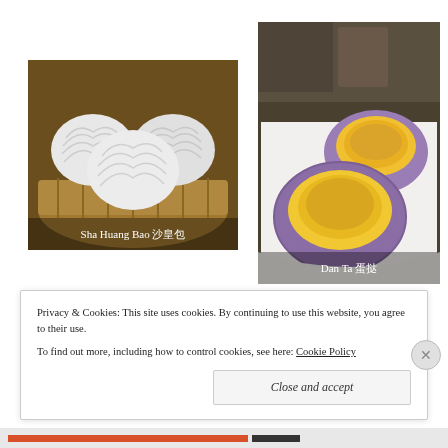[Figure (photo): Photo of Sha Huang Bao (steamed buns) in a bamboo steamer basket, with text overlay 'Sha Huang Bao 沙皇包']
[Figure (photo): Photo of Dan Ta (egg tarts) on a white plate, with text overlay 'Dan Ta 蛋挞']
Privacy & Cookies: This site uses cookies. By continuing to use this website, you agree to their use.
To find out more, including how to control cookies, see here: Cookie Policy
Close and accept